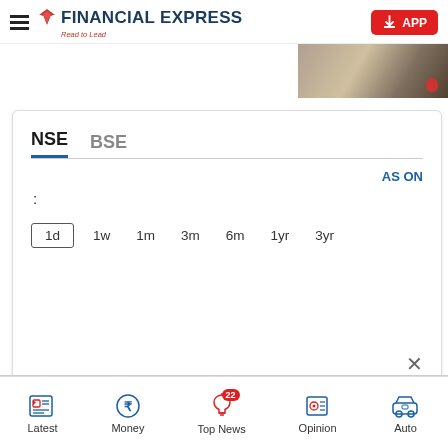FINANCIAL EXPRESS — Read to Lead | APP
[Figure (photo): Partial photo visible in top-right corner, appears to be a road/street scene]
NSE | BSE
AS ON
:
1d  1w  1m  3m  6m  1yr  3yr
[Figure (other): Empty chart area for stock price graph]
Latest | Money | Top News 22 | Opinion | Auto